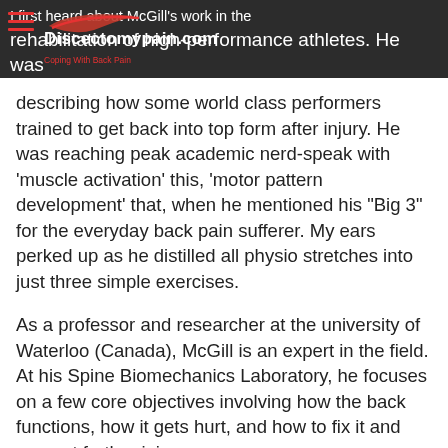I first heard about McGill's work in the rehabilitation of high-performance athletes. He was describing how some world class performers trained to get back into top form after injury. He was reaching peak academic nerd-speak with 'muscle activation' this, 'motor pattern development' that, when he mentioned his "Big 3" for the everyday back pain sufferer. My ears perked up as he distilled all physio stretches into just three simple exercises.
As a professor and researcher at the university of Waterloo (Canada), McGill is an expert in the field. At his Spine Biomechanics Laboratory, he focuses on a few core objectives involving how the back functions, how it gets hurt, and how to fix it and prevent further injury.
The four quadrants of muscles that support the spine are the rectus abdominus at the front, the obliques at the sides and